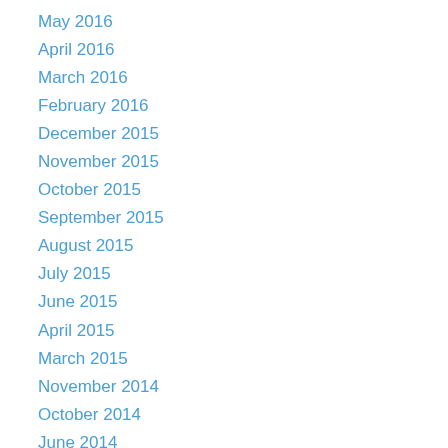May 2016
April 2016
March 2016
February 2016
December 2015
November 2015
October 2015
September 2015
August 2015
July 2015
June 2015
April 2015
March 2015
November 2014
October 2014
June 2014
May 2014
April 2014
March 2014
January 2014